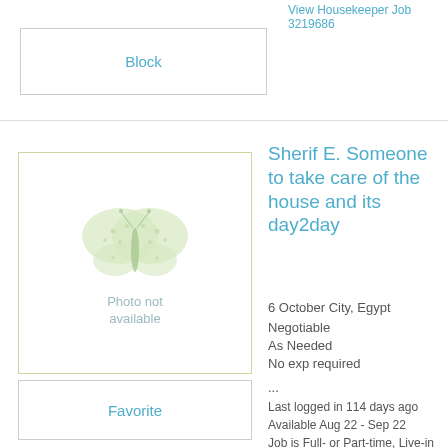View Housekeeper Job 3219686
Block
Sherif E. Someone to take care of the house and its day2day
[Figure (illustration): Photo not available placeholder with butterfly illustration]
6 October City, Egypt
Negotiable
As Needed
No exp required
...
Last logged in 114 days ago
Available Aug 22 - Sep 22
Job is Full- or Part-time, Live-in or Live-out
View Housekeeper Job 3203086
Favorite
Message
Add Note
Block